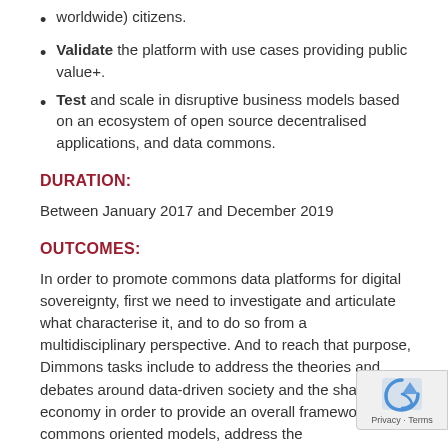worldwide) citizens.
Validate the platform with use cases providing public value+.
Test and scale in disruptive business models based on an ecosystem of open source decentralised applications, and data commons.
DURATION:
Between January 2017 and December 2019
OUTCOMES:
In order to promote commons data platforms for digital sovereignty, first we need to investigate and articulate what characterise it, and to do so from a multidisciplinary perspective. And to reach that purpose, Dimmons tasks include to address the theories and debates around data-driven society and the sharing economy in order to provide an overall framework of commons oriented models, address the conceptualization delimitation of commons based models in contrast to other non-commons oriented models, and the intersections between individual...